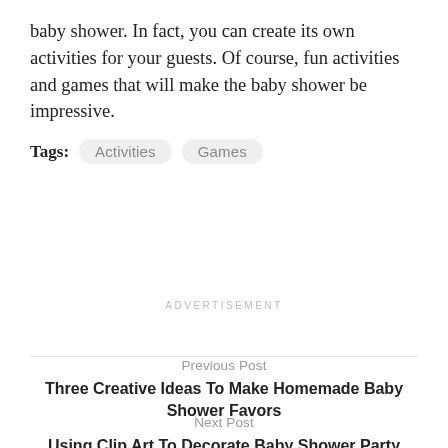baby shower. In fact, you can create its own activities for your guests. Of course, fun activities and games that will make the baby shower be impressive.
Tags: Activities Games
ADVERTISEMENT
Previous Post
Three Creative Ideas To Make Homemade Baby Shower Favors
Next Post
Using Clip Art To Decorate Baby Shower Party